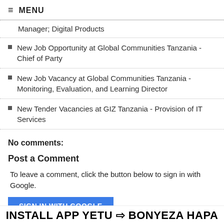≡ MENU
Manager; Digital Products
New Job Opportunity at Global Communities Tanzania - Chief of Party
New Job Vacancy at Global Communities Tanzania - Monitoring, Evaluation, and Learning Director
New Tender Vacancies at GIZ Tanzania - Provision of IT Services
No comments:
Post a Comment
To leave a comment, click the button below to sign in with Google.
SIGN IN WITH GOOGLE
INSTALL APP YETU ⇒ BONYEZA HAPA